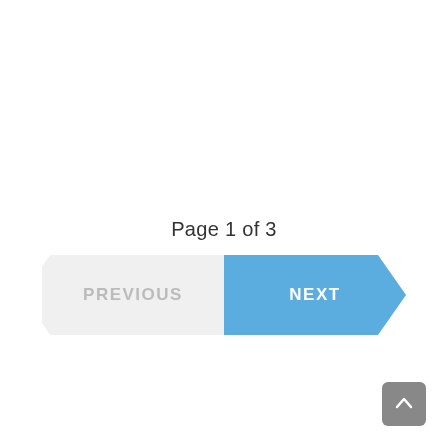Page 1 of 3
[Figure (other): Navigation buttons: PREVIOUS (gray, left-pointing chevron shape) and NEXT (blue, right-pointing arrow shape)]
[Figure (other): Scroll-to-top button: dark gray rounded square with upward arrow icon, positioned bottom-right]